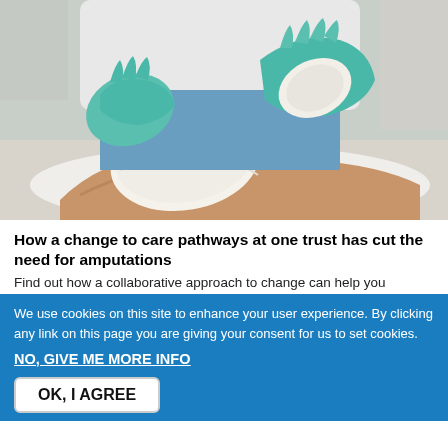[Figure (photo): A healthcare professional wearing blue latex gloves wrapping a white bandage around a patient's foot/ankle, resting on a white surface. The patient appears to be an elderly person.]
How a change to care pathways at one trust has cut the need for amputations
Find out how a collaborative approach to change can help you
We use cookies on this site to enhance your user experience. By clicking any link on this page you are giving your consent for us to set cookies.
NO, GIVE ME MORE INFO
OK, I AGREE